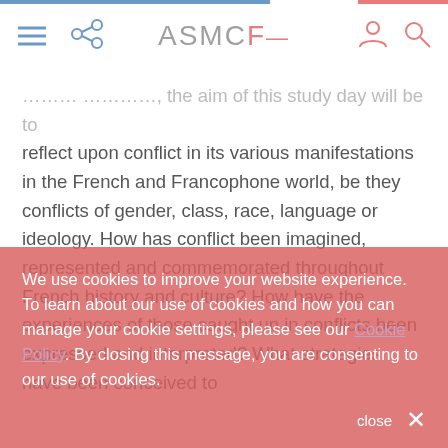ASMCF
…Within this context, the aim of this study day will be to reflect upon conflict in its various manifestations in the French and Francophone world, be they conflicts of gender, class, race, language or ideology. How has conflict been imagined, represented and commemorated throughout French history and culture? How have the experiences of those caught up in conflicts been expressed and interpreted? What strategies have been conceived to
We use cookies to improve your website experience. To learn about our use of cookies and how you can manage your cookie settings, please see our Cookie Policy. By closing this message, you are consenting to our use of cookies.